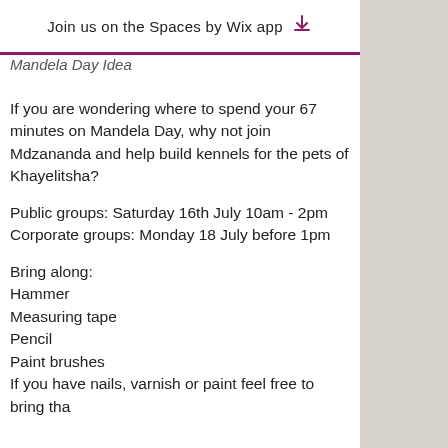Join us on the Spaces by Wix app
Mandela Day Idea
If you are wondering where to spend your 67 minutes on Mandela Day, why not join Mdzananda and help build kennels for the pets of Khayelitsha?
Public groups: Saturday 16th July 10am - 2pm
Corporate groups: Monday 18 July before 1pm
Bring along:
Hammer
Measuring tape
Pencil
Paint brushes
If you have nails, varnish or paint feel free to bring tha...o